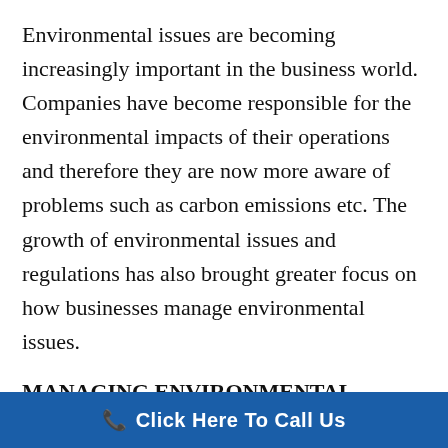Environmental issues are becoming increasingly important in the business world. Companies have become responsible for the environmental impacts of their operations and therefore they are now more aware of problems such as carbon emissions etc. The growth of environmental issues and regulations has also brought greater focus on how businesses manage environmental issues.
MANAGING ENVIRONMENTAL ISSUES
Environmental issues are important to businesses for a number of reasons
Click Here To Call Us